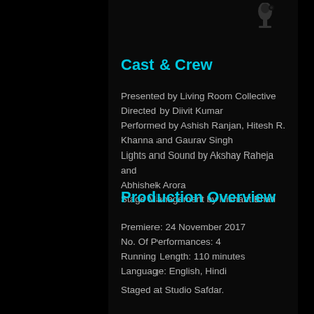[Figure (photo): Small icon/image of a microphone or camera in the top right of the content panel]
Cast & Crew
Presented by Living Room Collective
Directed by Diivit Kumar
Performed by Ashish Ranjan, Hitesh R. Khanna and Gaurav Singh
Lights and Sound by Akshay Raheja and Abhishek Arora
Stage Management by Nishant Bhati
Production Overview
Premiere: 24 November 2017
No. Of Performances: 4
Running Length: 110 minutes
Language: English, Hindi
Staged at Studio Safdar.